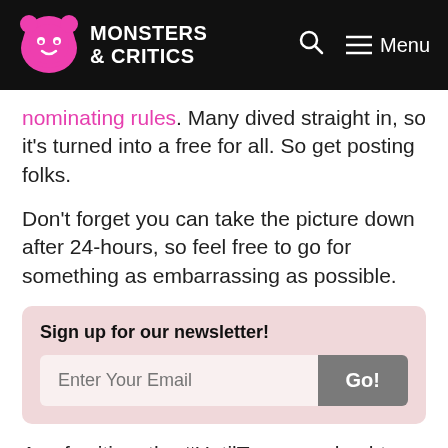MONSTERS & CRITICS — Search — Menu
nominating rules. Many dived straight in, so it's turned into a free for all. So get posting folks.
Don't forget you can take the picture down after 24-hours, so feel free to go for something as embarrassing as possible.
Sign up for our newsletter! [email input] Go!
As of writing, the #UntilTomorrow hashtag had 254,835 posts, and #OnlyUntilTomorrow had just shy of 7,000 on Instagram.